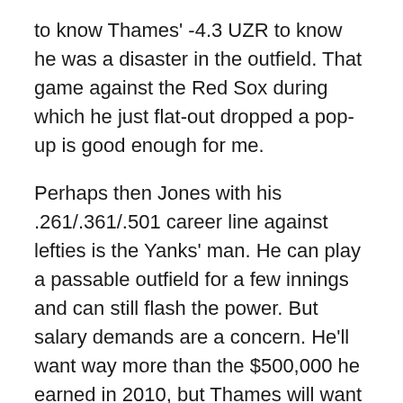to know Thames' -4.3 UZR to know he was a disaster in the outfield. That game against the Red Sox during which he just flat-out dropped a pop-up is good enough for me.
Perhaps then Jones with his .261/.361/.501 career line against lefties is the Yanks' man. He can play a passable outfield for a few innings and can still flash the power. But salary demands are a concern. He'll want way more than the $500,000 he earned in 2010, but Thames will want a raise from the $900,000 he earned. It seems that Jones will be the more expensive sure thing while Thames has the good will of 2010 going for them. With the Yanks' money to spend, I'd err toward Jones. Would you?
Pitching for 2011